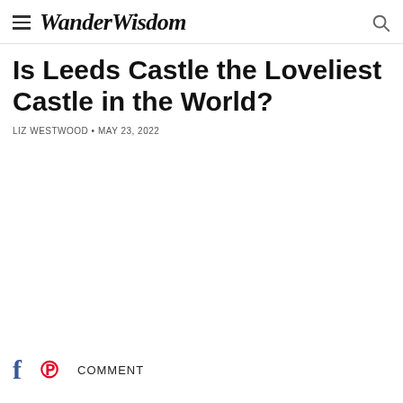WanderWisdom
Is Leeds Castle the Loveliest Castle in the World?
LIZ WESTWOOD • MAY 23, 2022